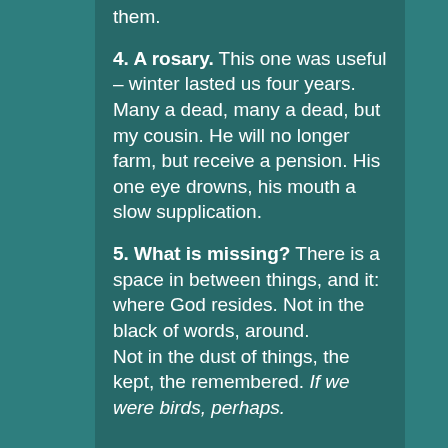them.
4. A rosary. This one was useful – winter lasted us four years. Many a dead, many a dead, but my cousin. He will no longer farm, but receive a pension. His one eye drowns, his mouth a slow supplication.
5. What is missing? There is a space in between things, and it: where God resides. Not in the black of words, around.
Not in the dust of things, the kept, the remembered. If we were birds, perhaps.